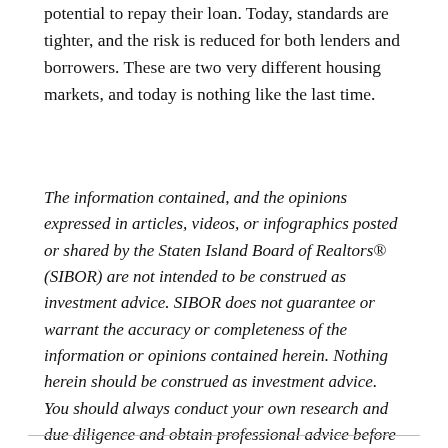potential to repay their loan. Today, standards are tighter, and the risk is reduced for both lenders and borrowers. These are two very different housing markets, and today is nothing like the last time.
The information contained, and the opinions expressed in articles, videos, or infographics posted or shared by the Staten Island Board of Realtors® (SIBOR) are not intended to be construed as investment advice. SIBOR does not guarantee or warrant the accuracy or completeness of the information or opinions contained herein. Nothing herein should be construed as investment advice. You should always conduct your own research and due diligence and obtain professional advice before making any investment decision. SIBOR will not be liable for any loss or damage caused by your reliance on the information or opinions contained herein.